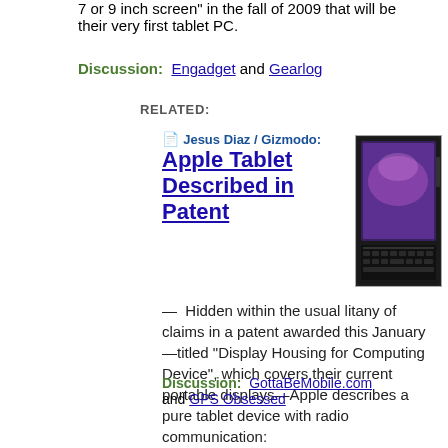7 or 9 inch screen" in the fall of 2009 that will be their very first tablet PC.
Discussion: Engadget and Gearlog
RELATED:
📄 Jesus Diaz / Gizmodo: Apple Tablet Described in Patent
[Figure (photo): Image of Apple tablet device concept — dark slate device with keyboard]
— Hidden within the usual litany of claims in a patent awarded this January—titled “Display Housing for Computing Device”, which covers their current portable displays—Apple describes a pure tablet device with radio communication:
Discussion: GottaBeMobile.com and GPS Obsessed
📄 PR Newswire: Motorola Announces Fourth-
[Figure (line-chart): Small line chart showing stock or data values around 4.1-4.6 range, with time axis showing 10am 12pm 2pm 4pm]